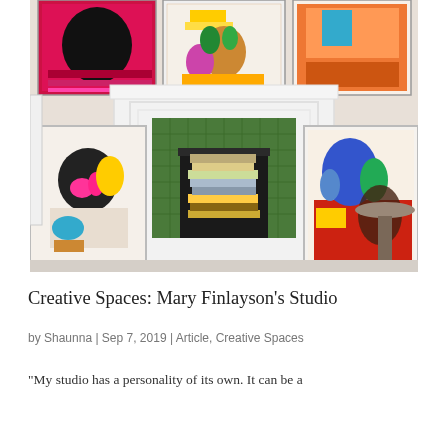[Figure (photo): A fireplace with a white surround and green subway tiles, decorated with colorful framed artworks on the mantel above and leaning against the sides. Books are stacked in the fireplace opening. The artworks feature bold, colorful illustrations including still life subjects with plants and vessels.]
Creative Spaces: Mary Finlayson's Studio
by Shaunna | Sep 7, 2019 | Article, Creative Spaces
"My studio has a personality of its own. It can be a